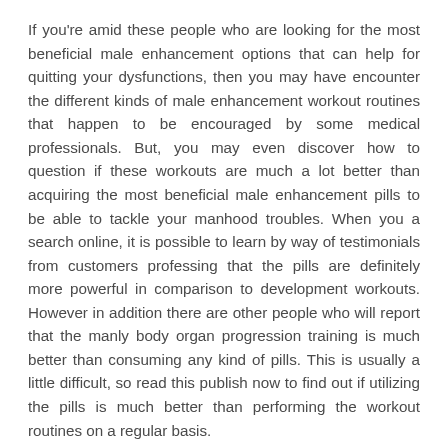If you're amid these people who are looking for the most beneficial male enhancement options that can help for quitting your dysfunctions, then you may have encounter the different kinds of male enhancement workout routines that happen to be encouraged by some medical professionals. But, you may even discover how to question if these workouts are much a lot better than acquiring the most beneficial male enhancement pills to be able to tackle your manhood troubles. When you a search online, it is possible to learn by way of testimonials from customers professing that the pills are definitely more powerful in comparison to development workouts. However in addition there are other people who will report that the manly body organ progression training is much better than consuming any kind of pills. This is usually a little difficult, so read this publish now to find out if utilizing the pills is much better than performing the workout routines on a regular basis.
Using the best pills and performing male enhancement exercises on a regular basis are typically powerful. Though